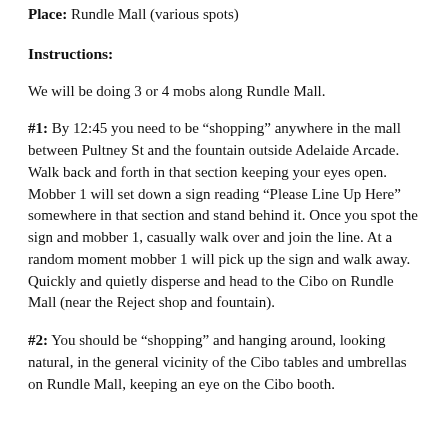Place: Rundle Mall (various spots)
Instructions:
We will be doing 3 or 4 mobs along Rundle Mall.
#1: By 12:45 you need to be “shopping” anywhere in the mall between Pultney St and the fountain outside Adelaide Arcade. Walk back and forth in that section keeping your eyes open. Mobber 1 will set down a sign reading “Please Line Up Here” somewhere in that section and stand behind it. Once you spot the sign and mobber 1, casually walk over and join the line. At a random moment mobber 1 will pick up the sign and walk away. Quickly and quietly disperse and head to the Cibo on Rundle Mall (near the Reject shop and fountain).
#2: You should be “shopping” and hanging around, looking natural, in the general vicinity of the Cibo tables and umbrellas on Rundle Mall, keeping an eye on the Cibo booth.